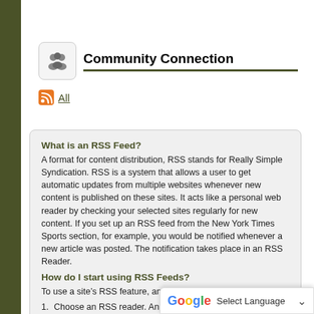Community Connection
All
What is an RSS Feed?
A format for content distribution, RSS stands for Really Simple Syndication. RSS is a system that allows a user to get automatic updates from multiple websites whenever new content is published on these sites. It acts like a personal web reader by checking your selected sites regularly for new content. If you set up an RSS feed from the New York Times Sports section, for example, you would be notified whenever a new article was posted. The notification takes place in an RSS Reader.
How do I start using RSS Feeds?
To use a site’s RSS feature, an RSS reader is required.
Choose an RSS reader. An internet search will return many options. Some readers are web-based, such as My Yahoo!. Web-based readers require no software installation and are accessible from any computer that has internet access. Other readers are downloadable applications, such as FeedDemon.